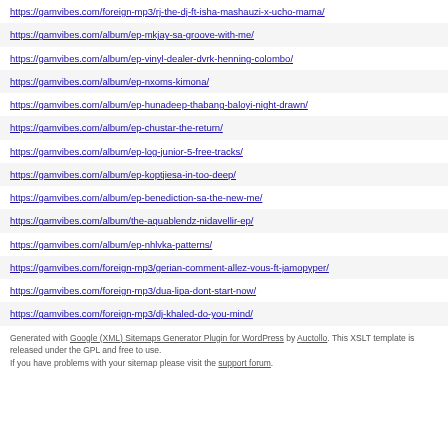https://gamvibes.com/foreign-mp3/rj-the-dj-ft-isha-mashauzi-x-ucho-mama/
https://gamvibes.com/album/ep-mkjay-sa-groove-with-me/
https://gamvibes.com/album/ep-vinyl-dealer-dvrk-henning-colombo/
https://gamvibes.com/album/ep-nxoms-kimona/
https://gamvibes.com/album/ep-hunadeep-thabang-baloyi-night-drawn/
https://gamvibes.com/album/ep-chustar-the-return/
https://gamvibes.com/album/ep-log-junior-5-free-tracks/
https://gamvibes.com/album/ep-koptjiesa-in-too-deep/
https://gamvibes.com/album/ep-benediction-sa-the-new-me/
https://gamvibes.com/album/the-aquablendz-nidavellir-ep/
https://gamvibes.com/album/ep-nhlvka-patterns/
https://gamvibes.com/foreign-mp3/gerian-comment-allez-vous-ft-jamopyper/
https://gamvibes.com/foreign-mp3/dua-lipa-dont-start-now/
https://gamvibes.com/foreign-mp3/dj-khaled-do-you-mind/
Generated with Google (XML) Sitemaps Generator Plugin for WordPress by Auctollo. This XSLT template is released under the GPL and free to use. If you have problems with your sitemap please visit the support forum.